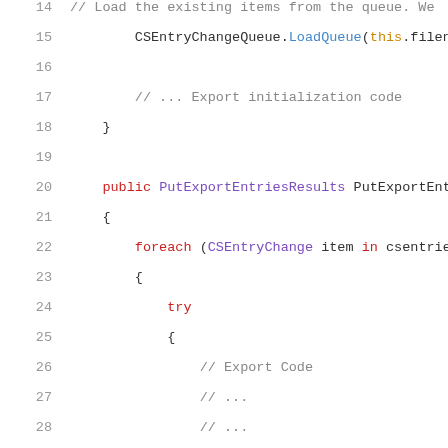[Figure (screenshot): C# source code snippet showing lines 14-33 of a class with CSEntryChangeQueue operations, PutExportEntries method, foreach loop, try block, and catch block]